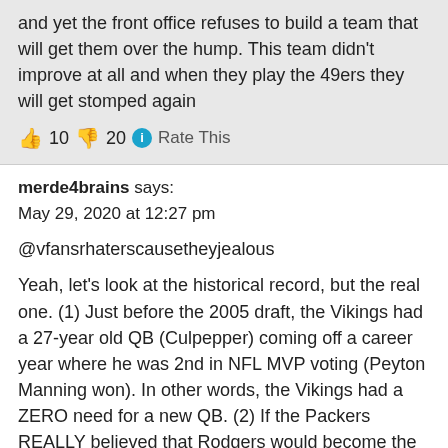and yet the front office refuses to build a team that will get them over the hump. This team didn't improve at all and when they play the 49ers they will get stomped again
👍 10 👎 20 ℹ Rate This
merde4brains says:
May 29, 2020 at 12:27 pm
@vfansrhaterscausetheyjealous
Yeah, let's look at the historical record, but the real one. (1) Just before the 2005 draft, the Vikings had a 27-year old QB (Culpepper) coming off a career year where he was 2nd in NFL MVP voting (Peyton Manning won). In other words, the Vikings had a ZERO need for a new QB. (2) If the Packers REALLY believed that Rodgers would become the QB that he was, they would never have waited for him to fall to number 24 in the draft before selecting him. Don't forget that many had touted Rodgers as the number 1 pick. Moreover, Favre was 35